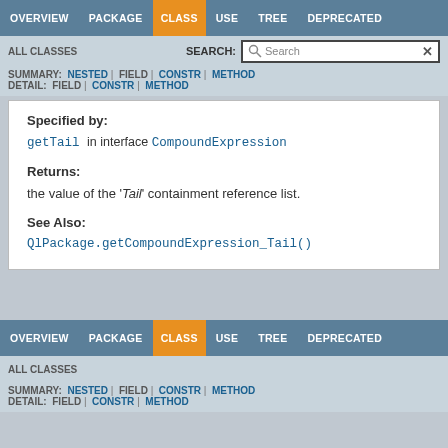OVERVIEW  PACKAGE  CLASS  USE  TREE  DEPRECATED
ALL CLASSES   SEARCH:
SUMMARY: NESTED | FIELD | CONSTR | METHOD  DETAIL: FIELD | CONSTR | METHOD
Specified by:
getTail in interface CompoundExpression
Returns:
the value of the 'Tail' containment reference list.
See Also:
QlPackage.getCompoundExpression_Tail()
OVERVIEW  PACKAGE  CLASS  USE  TREE  DEPRECATED
ALL CLASSES
SUMMARY: NESTED | FIELD | CONSTR | METHOD  DETAIL: FIELD | CONSTR | METHOD